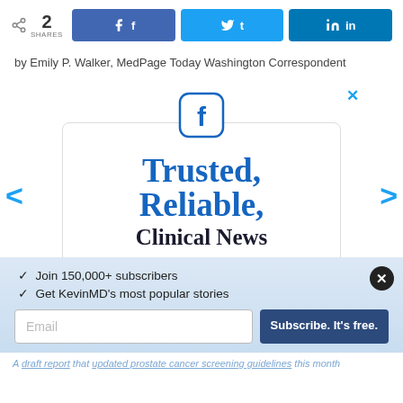[Figure (infographic): Social share bar with share count (2 SHARES), Facebook, Twitter, and LinkedIn buttons]
by Emily P. Walker, MedPage Today Washington Correspondent
[Figure (infographic): Facebook ad popup: rounded square Facebook icon on top, white card with 'Trusted, Reliable, Clinical News' text and 'Like Us on Facebook' red button. X close button top right. Left and right navigation arrows on sides.]
✓ Join 150,000+ subscribers
✓ Get KevinMD's most popular stories
Email  |  Subscribe. It's free.